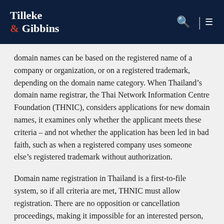Tilleke & Gibbins
domain names can be based on the registered name of a company or organization, or on a registered trademark, depending on the domain name category. When Thailand’s domain name registrar, the Thai Network Information Centre Foundation (THNIC), considers applications for new domain names, it examines only whether the applicant meets these criteria – and not whether the application has been led in bad faith, such as when a registered company uses someone else’s registered trademark without authorization.
Domain name registration in Thailand is a first-to-file system, so if all criteria are met, THNIC must allow registration. There are no opposition or cancellation proceedings, making it impossible for an interested person, as well as THNIC itself, to invalidate a Thai-